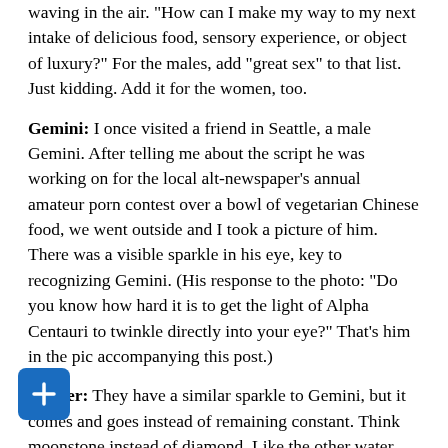waving in the air. "How can I make my way to my next intake of delicious food, sensory experience, or object of luxury?" For the males, add "great sex" to that list. Just kidding. Add it for the women, too.
Gemini: I once visited a friend in Seattle, a male Gemini. After telling me about the script he was working on for the local alt-newspaper's annual amateur porn contest over a bowl of vegetarian Chinese food, we went outside and I took a picture of him. There was a visible sparkle in his eye, key to recognizing Gemini. (His response to the photo: "Do you know how hard it is to get the light of Alpha Centauri to twinkle directly into your eye?" That's him in the pic accompanying this post.)
Cancer: They have a similar sparkle to Gemini, but it comes and goes instead of remaining constant. Think moonstone instead of diamond. Like the other water signs, they are capable of projecting emotion at you with their eyes. You can read every single thing they are thinking or feeling (and woe betide you if you are in trouble, believe me– my mother is a Cancer rising!). Tom Cruise, Lindsay Lohan, George W. Bush, O.J. Simpson are all Cancer-sun public figures whose eyes reveal their inner workings.
Leo: Some astrologers say that Leo eyes are cat-shaped, but I